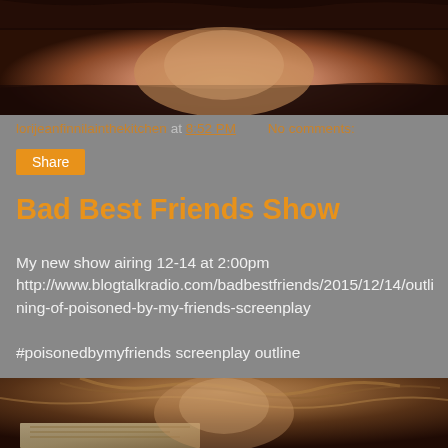[Figure (photo): Top portion of a photo showing a person wearing dark lace clothing, neck and lower face area visible]
lorijeanfinnilainthekitchen at 8:52 PM    No comments:
Share
Bad Best Friends Show
My new show airing 12-14 at 2:00pm http://www.blogtalkradio.com/badbestfriends/2015/12/14/outlining-of-poisoned-by-my-friends-screenplay

#poisonedbymyfriends screenplay outline
[Figure (photo): Bottom portion of a photo showing a person with light brown hair, papers or documents visible below]